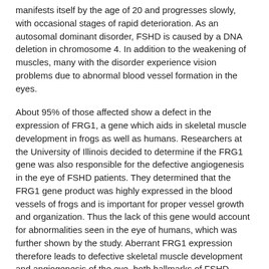manifests itself by the age of 20 and progresses slowly, with occasional stages of rapid deterioration. As an autosomal dominant disorder, FSHD is caused by a DNA deletion in chromosome 4. In addition to the weakening of muscles, many with the disorder experience vision problems due to abnormal blood vessel formation in the eyes.
About 95% of those affected show a defect in the expression of FRG1, a gene which aids in skeletal muscle development in frogs as well as humans. Researchers at the University of Illinois decided to determine if the FRG1 gene was also responsible for the defective angiogenesis in the eye of FSHD patients. They determined that the FRG1 gene product was highly expressed in the blood vessels of frogs and is important for proper vessel growth and organization. Thus the lack of this gene would account for abnormalities seen in the eye of humans, which was further shown by the study. Aberrant FRG1 expression therefore leads to defective skeletal muscle development and angiogenesis of the eye, both hallmarks of FSHD.
Source: Science Daily- Researchers Identify Gene